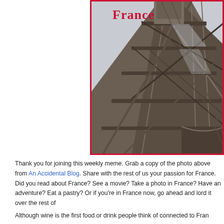[Figure (photo): Close-up upward-angle photograph of the Eiffel Tower's iron lattice structure against an overcast sky, with the word 'France' in bold red serif text overlaid near the top of the image.]
Thank you for joining this weekly meme. Grab a copy of the photo above from An Accidental Blog. Share with the rest of us your passion for France. Did you read about France? See a movie? Take a photo in France? Have an adventure? Eat a pastry? Or if you're in France now, go ahead and lord it over the rest of
Although wine is the first food or drink people think of connected to Franc